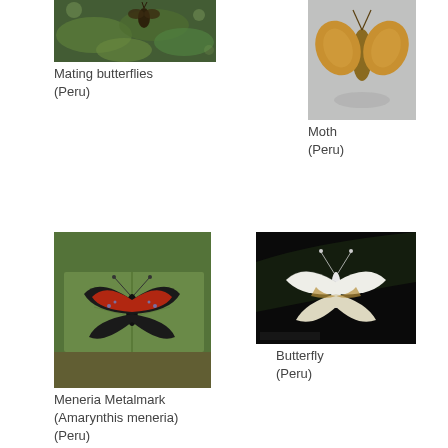[Figure (photo): Mating butterflies on green foliage, Peru]
Mating butterflies (Peru)
[Figure (photo): Yellow/orange moth on grey surface, Peru]
Moth (Peru)
[Figure (photo): Meneria Metalmark butterfly (Amarynthis meneria) — black and red wings on green leaf, Peru]
Meneria Metalmark (Amarynthis meneria) (Peru)
[Figure (photo): White butterfly on dark background, Peru]
Butterfly (Peru)